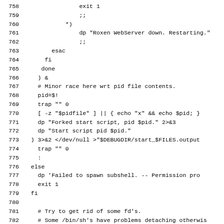758-784 shell script code listing showing exit handling, pid management, and fd cleanup